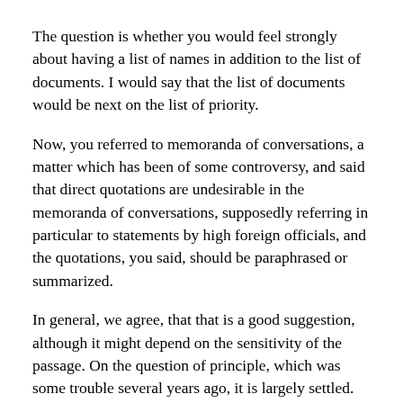The question is whether you would feel strongly about having a list of names in addition to the list of documents. I would say that the list of documents would be next on the list of priority.
Now, you referred to memoranda of conversations, a matter which has been of some controversy, and said that direct quotations are undesirable in the memoranda of conversations, supposedly referring in particular to statements by high foreign officials, and the quotations, you said, should be paraphrased or summarized.
In general, we agree, that that is a good suggestion, although it might depend on the sensitivity of the passage. On the question of principle, which was some trouble several years ago, it is largely settled. Brazil raised the question and has since receded a good deal from the insistence on exclusion of memoranda of conversations by high officials.
You made other suggestions. One was the suggestion that we meet two days. We were delighted that you showed the interest in the work to suggest that the meeting should be two days, and we will certainly, I think, provide you with the material at this